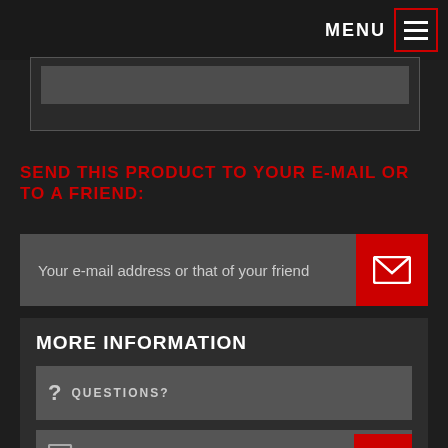MENU
SEND THIS PRODUCT TO YOUR E-MAIL OR TO A FRIEND:
Your e-mail address or that of your friend
MORE INFORMATION
? QUESTIONS?
FREE SAMPLE?